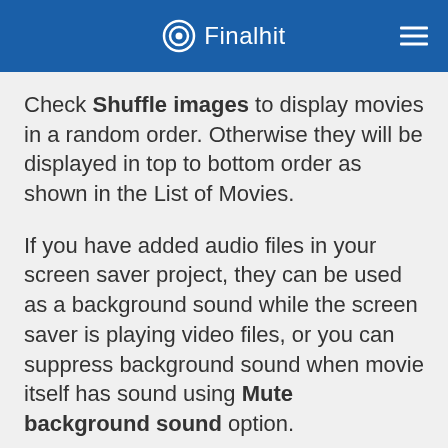Finalhit
Check Shuffle images to display movies in a random order. Otherwise they will be displayed in top to bottom order as shown in the List of Movies.
If you have added audio files in your screen saver project, they can be used as a background sound while the screen saver is playing video files, or you can suppress background sound when movie itself has sound using Mute background sound option.
Background of Movies – See Background of Movies section.